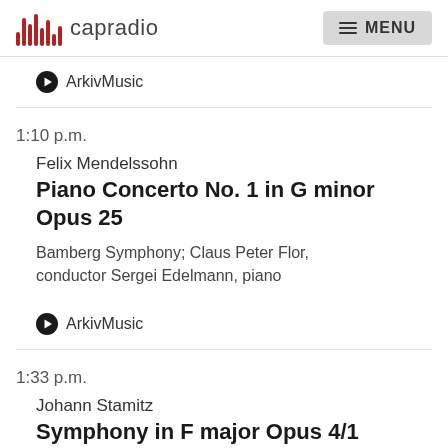capradio  MENU
ArkivMusic
1:10 p.m.
Felix Mendelssohn
Piano Concerto No. 1 in G minor Opus 25
Bamberg Symphony; Claus Peter Flor, conductor Sergei Edelmann, piano
ArkivMusic
1:33 p.m.
Johann Stamitz
Symphony in F major Opus 4/1